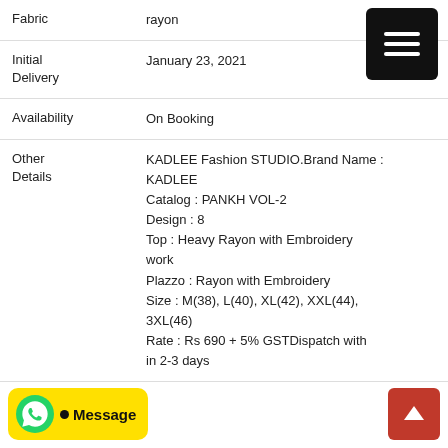| Label | Value |
| --- | --- |
| Fabric | rayon |
| Initial Delivery | January 23, 2021 |
| Availability | On Booking |
| Other Details | KADLEE Fashion STUDIO.Brand Name : KADLEE
Catalog : PANKH VOL-2
Design : 8
Top : Heavy Rayon with Embroidery work
Plazzo : Rayon with Embroidery
Size : M(38), L(40), XL(42), XXL(44), 3XL(46)
Rate : Rs 690 + 5% GSTDispatch with in 2-3 days |